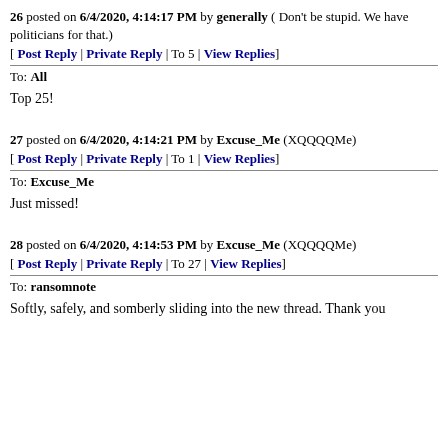26 posted on 6/4/2020, 4:14:17 PM by generally ( Don't be stupid. We have politicians for that.)
[ Post Reply | Private Reply | To 5 | View Replies]
To: All
Top 25!
27 posted on 6/4/2020, 4:14:21 PM by Excuse_Me (XQQQQMe)
[ Post Reply | Private Reply | To 1 | View Replies]
To: Excuse_Me
Just missed!
28 posted on 6/4/2020, 4:14:53 PM by Excuse_Me (XQQQQMe)
[ Post Reply | Private Reply | To 27 | View Replies]
To: ransomnote
Softly, safely, and somberly sliding into the new thread. Thank you